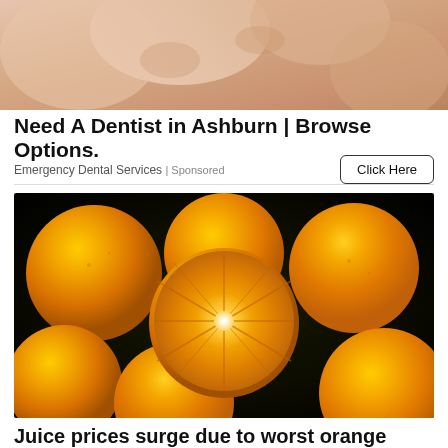[Figure (photo): Close-up photo of a hand or skin, top portion of a dentist advertisement image]
Need A Dentist in Ashburn | Browse Options.
Emergency Dental Services | Sponsored
Click Here
[Figure (photo): Close-up photo of multiple oranges including one sliced in half showing the interior, against a dark background]
Juice prices surge due to worst orange shortage since WWII